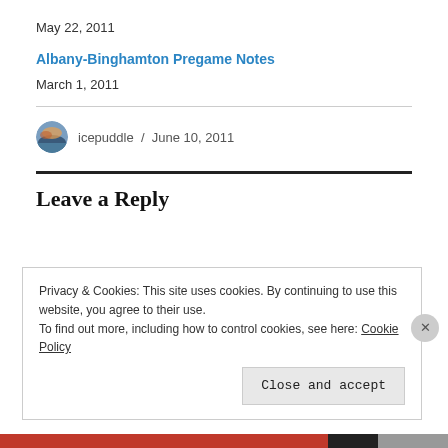May 22, 2011
Albany-Binghamton Pregame Notes
March 1, 2011
icepuddle / June 10, 2011
Leave a Reply
Privacy & Cookies: This site uses cookies. By continuing to use this website, you agree to their use.
To find out more, including how to control cookies, see here: Cookie Policy
Close and accept